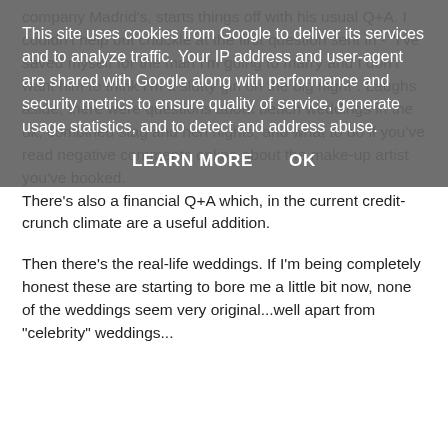This site uses cookies from Google to deliver its services and to analyze traffic. Your IP address and user-agent are shared with Google along with performance and security metrics to ensure quality of service, generate usage statistics, and to detect and address abuse.
LEARN MORE   OK
company Madrid's, starts things off with his usual Q+A. I couldn't help but chuckle at the first question sent in - "I've saved myself for the man I'm going to marry and I don't want him to think I'm a slutty girl on the big night". Laughs aside, there were questions about beach weddings in the uk, combined stag and hen nights, and what to do if you've read negative comments online about the make-up artist you've booked.
There's also a financial Q+A which, in the current credit-crunch climate are a useful addition.
Then there's the real-life weddings. If I'm being completely honest these are starting to bore me a little bit now, none of the weddings seem very original...well apart from "celebrity" weddings...